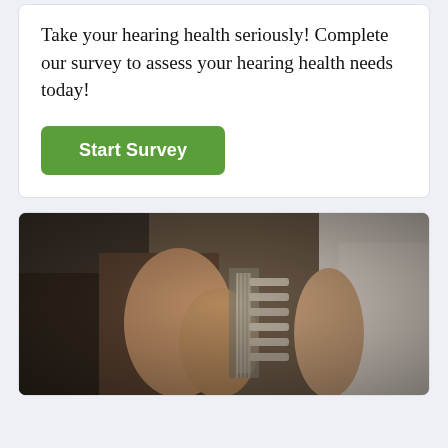Take your hearing health seriously! Complete our survey to assess your hearing health needs today!
Start Survey
[Figure (photo): Close-up photo of a person in a white t-shirt playing guitar, showing hands on the neck/tuning pegs of the guitar, with a blurred background.]